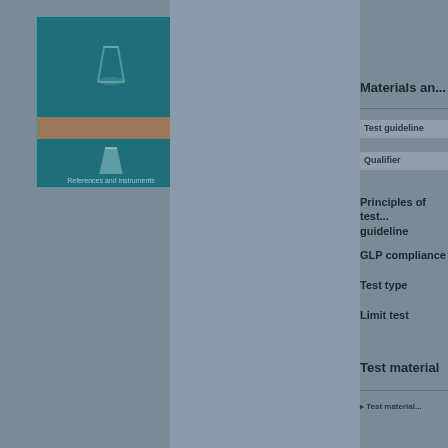[Figure (illustration): Teal book cover with flask/beaker icon and orange banner, showing a scientific/laboratory reference book thumbnail]
Materials an...
Test guideline
Qualifier
Principles of test... guideline
GLP compliance
Test type
Limit test
Test material
Test material...